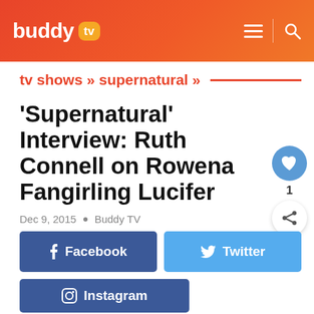buddy tv
tv shows » supernatural »
'Supernatural' Interview: Ruth Connell on Rowena Fangirling Lucifer
Dec 9, 2015  •  Buddy TV
Facebook
Twitter
Instagram